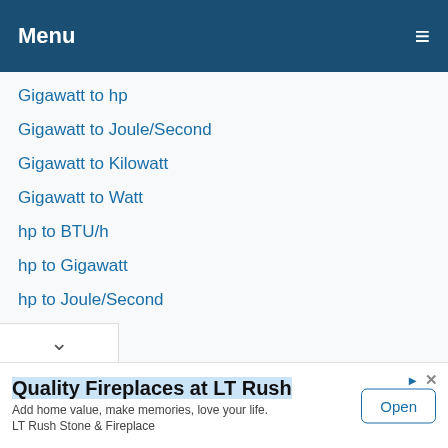Menu ≡
Gigawatt to hp
Gigawatt to Joule/Second
Gigawatt to Kilowatt
Gigawatt to Watt
hp to BTU/h
hp to Gigawatt
hp to Joule/Second
Quality Fireplaces at LT Rush
Add home value, make memories, love your life.
LT Rush Stone & Fireplace
Open